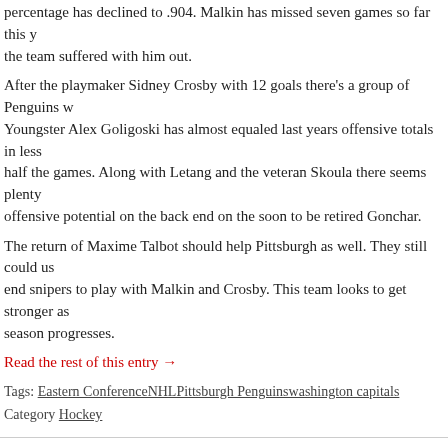percentage has declined to .904. Malkin has missed seven games so far this year and the team suffered with him out.
After the playmaker Sidney Crosby with 12 goals there's a group of Penguins who. Youngster Alex Goligoski has almost equaled last years offensive totals in less than half the games. Along with Letang and the veteran Skoula there seems plenty of offensive potential on the back end on the soon to be retired Gonchar.
The return of Maxime Talbot should help Pittsburgh as well. They still could use high end snipers to play with Malkin and Crosby. This team looks to get stronger as the season progresses.
Read the rest of this entry →
Tags: Eastern ConferenceNHLPittsburgh Penguinswashington capitals
Category Hockey
New NHL Season Is Off and Running
Posted on October 08, 2009 by Scott Weldon
[Figure (logo): NHL shield logo in black and silver]
The new NHL season has opened up and it has started up with a bang. The NHL regular season